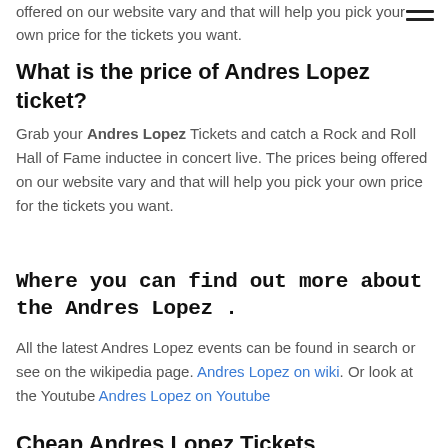offered on our website vary and that will help you pick your own price for the tickets you want.
What is the price of Andres Lopez ticket?
Grab your Andres Lopez Tickets and catch a Rock and Roll Hall of Fame inductee in concert live. The prices being offered on our website vary and that will help you pick your own price for the tickets you want.
Where you can find out more about the Andres Lopez .
All the latest Andres Lopez events can be found in search or see on the wikipedia page. Andres Lopez on wiki. Or look at the Youtube Andres Lopez on Youtube
Cheap Andres Lopez Tickets